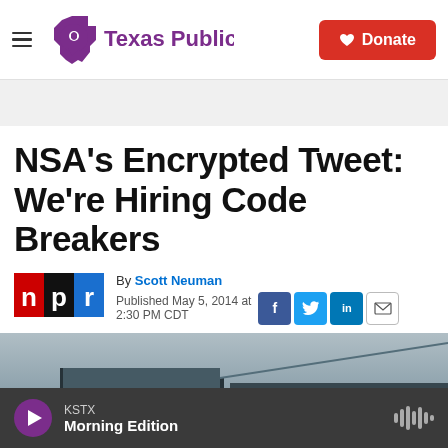Texas Public Radio | Donate
NSA's Encrypted Tweet: We're Hiring Code Breakers
By Scott Neuman
Published May 5, 2014 at 2:30 PM CDT
[Figure (photo): Photograph of a building exterior with gray sky, partial view of architectural lines]
KSTX Morning Edition